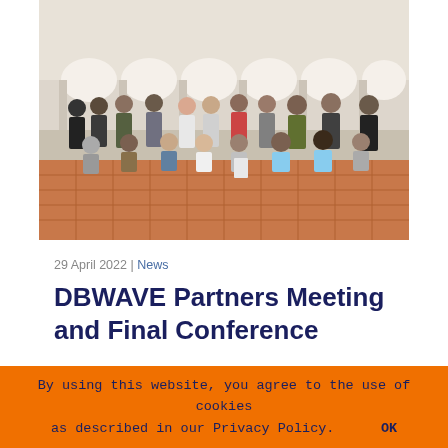[Figure (photo): Group photo of approximately 20 people posing in a courtyard with white arched colonnades in the background, some standing, some kneeling in front, on a terracotta-tiled floor.]
29 April 2022 | News
DBWAVE Partners Meeting and Final Conference
By using this website, you agree to the use of cookies as described in our Privacy Policy.  OK